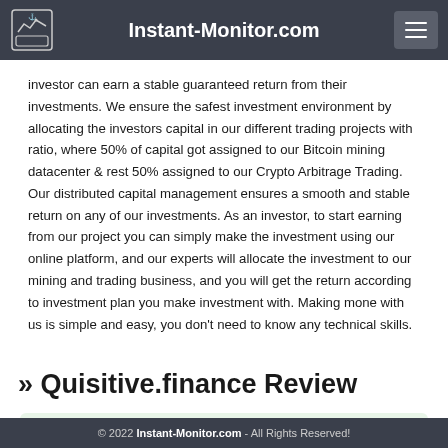Instant-Monitor.com
investor can earn a stable guaranteed return from their investments. We ensure the safest investment environment by allocating the investors capital in our different trading projects with ratio, where 50% of capital got assigned to our Bitcoin mining datacenter & rest 50% assigned to our Crypto Arbitrage Trading. Our distributed capital management ensures a smooth and stable return on any of our investments. As an investor, to start earning from our project you can simply make the investment using our online platform, and our experts will allocate the investment to our mining and trading business, and you will get the return according to investment plan you make investment with. Making mone with us is simple and easy, you don't need to know any technical skills.
Quisitive.finance Review
🛈 Project has been started on Monday, March 14,
© 2022 Instant-Monitor.com - All Rights Reserved!